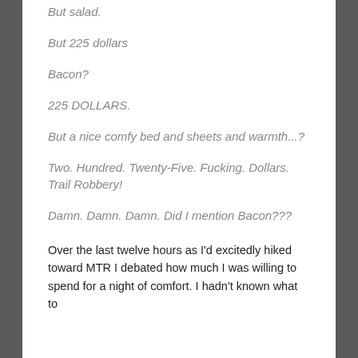But salad.
But 225 dollars
Bacon?
225 DOLLARS.
But a nice comfy bed and sheets and warmth...?
Two. Hundred. Twenty-Five. Fucking. Dollars. Trail Robbery!
Damn. Damn. Damn. Did I mention Bacon???
Over the last twelve hours as I'd excitedly hiked toward MTR I debated how much I was willing to spend for a night of comfort. I hadn't known what to